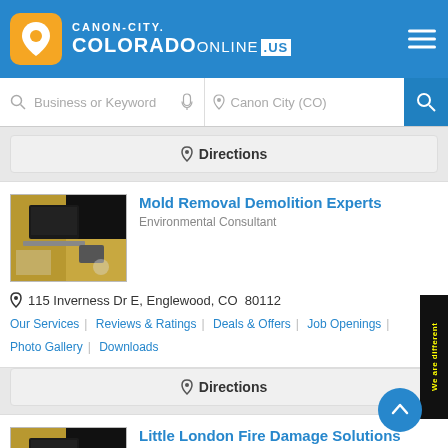CANON-CITY.COLORADOOnline.us
Business or Keyword | Canon City (CO)
🖈 Directions
Mold Removal Demolition Experts
Environmental Consultant
115 Inverness Dr E, Englewood, CO  80112
Our Services | Reviews & Ratings | Deals & Offers | Job Openings | Photo Gallery | Downloads
🖈 Directions
Little London Fire Damage Solutions
Water Damage Restoration
1150 Kelly Johnson Blvd, Colorado Springs, CO  80920